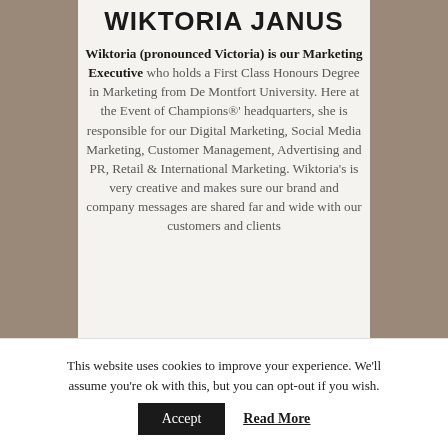WIKTORIA JANUS
Wiktoria (pronounced Victoria) is our Marketing Executive who holds a First Class Honours Degree in Marketing from De Montfort University. Here at the Event of Champions®' headquarters, she is responsible for our Digital Marketing, Social Media Marketing, Customer Management, Advertising and PR, Retail & International Marketing. Wiktoria's is very creative and makes sure our brand and company messages are shared far and wide with our customers and clients
This website uses cookies to improve your experience. We'll assume you're ok with this, but you can opt-out if you wish.
Accept
Read More